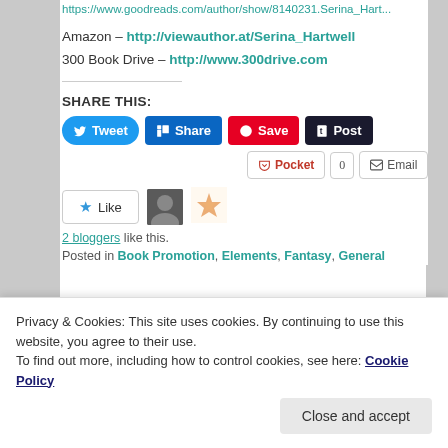https://www.goodreads.com/author/show/8140231.Serina_Hart...
Amazon – http://viewauthor.at/Serina_Hartwell
300 Book Drive – http://www.300drive.com
SHARE THIS:
[Figure (screenshot): Social share buttons: Tweet (Twitter/blue), Share (LinkedIn/blue), Save (Pinterest/red), Post (Tumblr/dark). Second row: Pocket button, count 0, Email button.]
[Figure (screenshot): Like button with star icon, two avatar thumbnails. '2 bloggers like this.']
2 bloggers like this.
Posted in Book Promotion, Elements, Fantasy, General
Privacy & Cookies: This site uses cookies. By continuing to use this website, you agree to their use. To find out more, including how to control cookies, see here: Cookie Policy